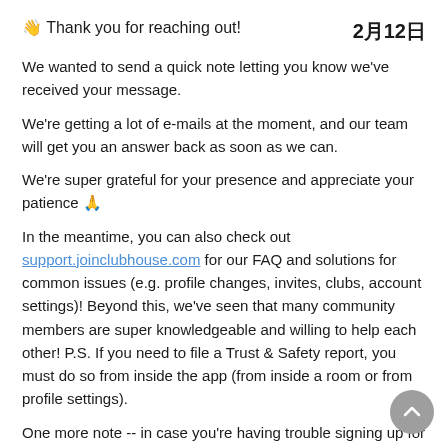👋 Thank you for reaching out!   2月12日
We wanted to send a quick note letting you know we've received your message.
We're getting a lot of e-mails at the moment, and our team will get you an answer back as soon as we can.
We're super grateful for your presence and appreciate your patience 🙏
In the meantime, you can also check out support.joinclubhouse.com for our FAQ and solutions for common issues (e.g. profile changes, invites, clubs, account settings)! Beyond this, we've seen that many community members are super knowledgeable and willing to help each other! P.S. If you need to file a Trust & Safety report, you must do so from inside the app (from inside a room or from profile settings).
One more note -- in case you're having trouble signing up for Clubhouse or logging in, please make sure you're using the right app! Here's the direct link to our app in the App Store: https://apps.apple.com/us/app/clubhouse-drop-in-audio-chat/id1503133294. We are currently still invite-only, but hope to be open for